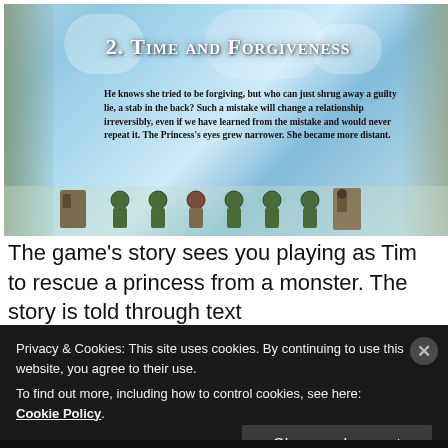[Figure (screenshot): Screenshot of the game 'Braid' showing chapter '2. Time and Forgiveness' with a blue crystalline sky background, overlay text about a princess and forgiveness, and a row of character sprites at the bottom including armored knights and a gate/tower]
The game's story sees you playing as Tim to rescue a princess from a monster. The story is told through text
Privacy & Cookies: This site uses cookies. By continuing to use this website, you agree to their use.
To find out more, including how to control cookies, see here: Cookie Policy